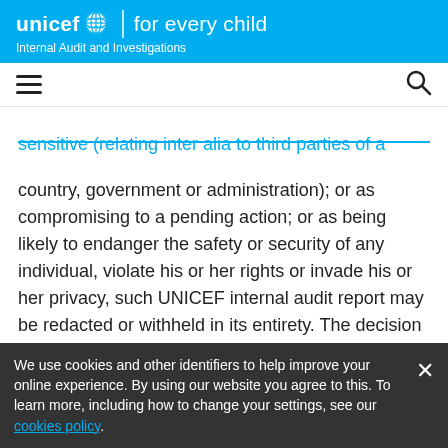unicef for every child | Internal Audit and Investigations
sensitive (relating inter alia to third parties of a country, government or administration); or as compromising to a pending action; or as being likely to endanger the safety or security of any individual, violate his or her rights or invade his or her privacy, such UNICEF internal audit report may be redacted or withheld in its entirety. The decision to withhold or redact is entirely at the discretion of the Director of OIAI.
We use cookies and other identifiers to help improve your online experience. By using our website you agree to this. To learn more, including how to change your settings, see our cookies policy.